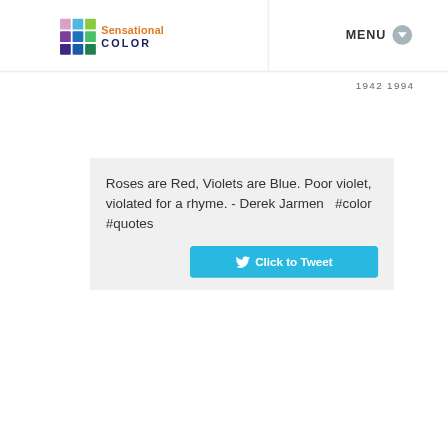[Figure (logo): Sensational Color logo with colorful grid of squares and stylized text]
MENU
1942  1994
Roses are Red, Violets are Blue. Poor violet, violated for a rhyme. - Derek Jarmen   #color #quotes
Click to Tweet
COLOR QUOTES